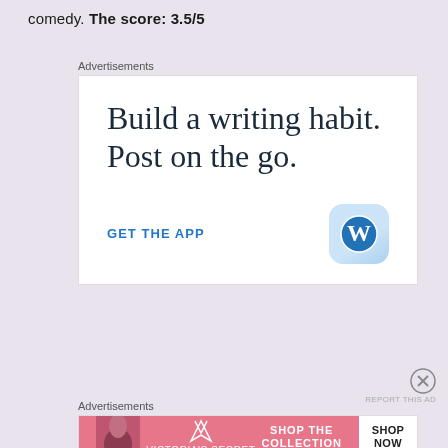comedy. The score: 3.5/5
Advertisements
[Figure (infographic): WordPress app advertisement showing text 'Build a writing habit. Post on the go.' with a 'GET THE APP' call-to-action and WordPress logo icon]
Advertisements
[Figure (infographic): Victoria's Secret banner ad with model photo on left, pink background with 'SHOP THE COLLECTION' text, and white 'SHOP NOW' button on right]